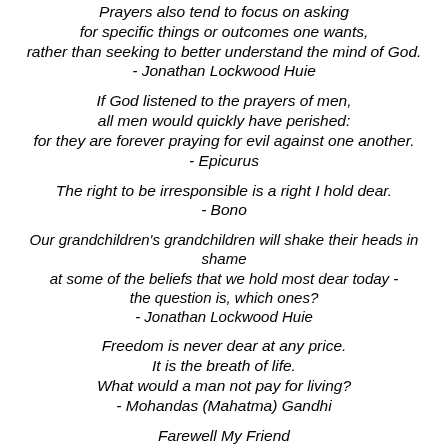Prayers also tend to focus on asking for specific things or outcomes one wants, rather than seeking to better understand the mind of God. - Jonathan Lockwood Huie
If God listened to the prayers of men, all men would quickly have perished: for they are forever praying for evil against one another. - Epicurus
The right to be irresponsible is a right I hold dear. - Bono
Our grandchildren's grandchildren will shake their heads in shame at some of the beliefs that we hold most dear today - the question is, which ones? - Jonathan Lockwood Huie
Freedom is never dear at any price. It is the breath of life. What would a man not pay for living? - Mohandas (Mahatma) Gandhi
Farewell My Friend It was beautiful as long as it lasted